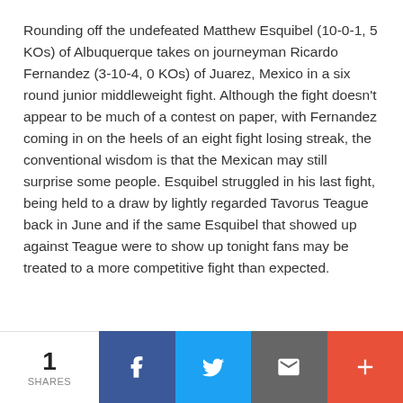Rounding off the undefeated Matthew Esquibel (10-0-1, 5 KOs) of Albuquerque takes on journeyman Ricardo Fernandez (3-10-4, 0 KOs) of Juarez, Mexico in a six round junior middleweight fight.  Although the fight doesn't appear to be much of a contest on paper, with Fernandez coming in on the heels of an eight fight losing streak, the conventional wisdom is that the Mexican may still surprise some people.  Esquibel struggled in his last fight, being held to a draw by lightly regarded Tavorus Teague back in June and if the same Esquibel that showed up against Teague were to show up tonight fans may be treated to a more competitive fight than expected.
1 SHARES | Facebook | Twitter | Email | More